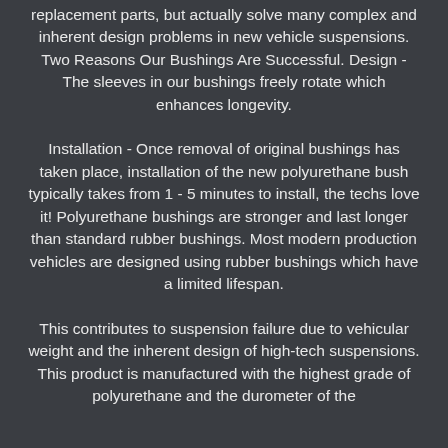replacement parts, but actually solve many complex and inherent design problems in new vehicle suspensions. Two Reasons Our Bushings Are Successful. Design - The sleeves in our bushings freely rotate which enhances longevity.
Installation - Once removal of original bushings has taken place, installation of the new polyurethane bush typically takes from 1 - 5 minutes to install, the techs love it! Polyurethane bushings are stronger and last longer than standard rubber bushings. Most modern production vehicles are designed using rubber bushings which have a limited lifespan.
This contributes to suspension failure due to vehicular weight and the inherent design of high-tech suspensions. This product is manufactured with the highest grade of polyurethane and the durometer of the